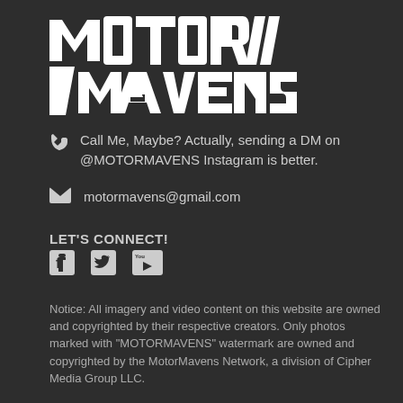[Figure (logo): MotorMavens logo - stylized white text with diagonal slash marks]
Call Me, Maybe? Actually, sending a DM on @MOTORMAVENS Instagram is better.
motormavens@gmail.com
LET'S CONNECT!
[Figure (infographic): Social media icons: Facebook, Twitter, YouTube]
Notice: All imagery and video content on this website are owned and copyrighted by their respective creators. Only photos marked with "MOTORMAVENS" watermark are owned and copyrighted by the MotorMavens Network, a division of Cipher Media Group LLC.